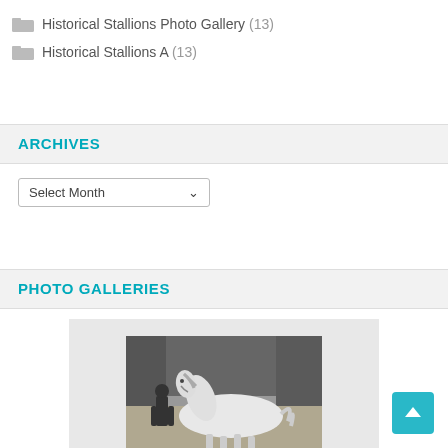Historical Stallions Photo Gallery (13)
Historical Stallions A (13)
ARCHIVES
Select Month
PHOTO GALLERIES
[Figure (photo): A black and white photograph of a white horse running or trotting, shown in profile against a dark wooded background.]